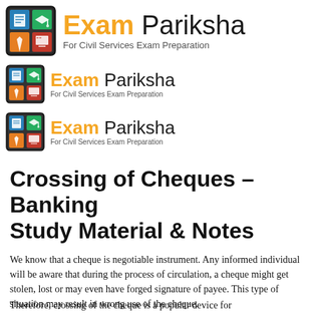[Figure (logo): Exam Pariksha logo - large version with tablet icon grid and brand name 'Exam Pariksha' with tagline 'For Civil Services Exam Preparation']
[Figure (logo): Exam Pariksha logo - medium version with tablet icon grid and brand name 'Exam Pariksha' with tagline 'For Civil Services Exam Preparation']
[Figure (logo): Exam Pariksha logo - medium version with tablet icon grid and brand name 'Exam Pariksha' with tagline 'For Civil Services Exam Preparation']
Crossing of Cheques – Banking Study Material & Notes
We know that a cheque is negotiable instrument. Any informed individual will be aware that during the process of circulation, a cheque might get stolen, lost or may even have forged signature of payee. This type of situation may result in wrong use of the cheque.
Therefore, crossing of the cheque is a popular device for